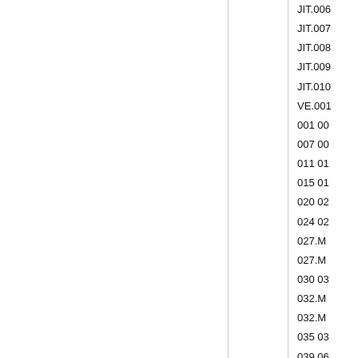|  |  | JIT.006 |
|  |  | JIT.007 |
|  |  | JIT.008 |
|  |  | JIT.009 |
|  |  | JIT.010 |
|  |  | VE.001 |
|  |  | 001 00 |
|  |  | 007 00 |
|  |  | 011 01 |
|  |  | 015 01 |
|  |  | 020 02 |
|  |  | 024 02 |
|  |  | 027.M |
|  |  | 027.M |
|  |  | 030 03 |
|  |  | 032.M |
|  |  | 032.M |
|  |  | 035 03 |
|  |  | 039 06 |